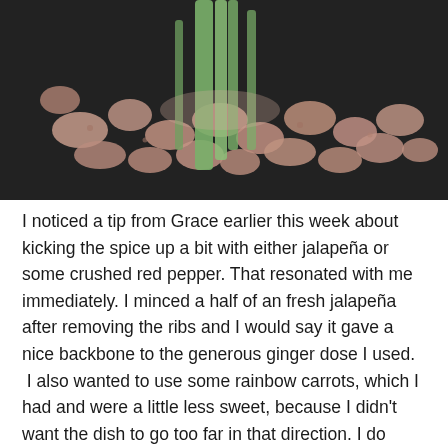[Figure (photo): Close-up photo of diced raw chicken pieces mixed with chopped green celery or scallions on a dark surface.]
I noticed a tip from Grace earlier this week about kicking the spice up a bit with either jalapeña or  some crushed red pepper. That resonated with me immediately. I minced a half of an fresh jalapeña after removing the ribs and I would say it gave a nice backbone to the generous ginger dose I used.  I also wanted to use some rainbow carrots, which I had and were a little less sweet, because I didn't want the dish to go too far in that direction. I do think a sweeter carrot might please more people and caramelize nicely. Otherwise, I cooked to the recipe and of course, all the time is in the prep. I popped the chicken in the freezer for an house to chill it a bit firmer to make dicing easy,